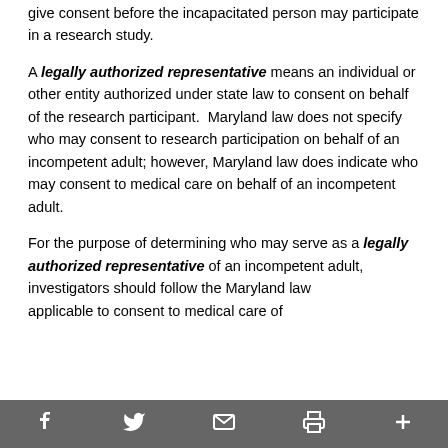give consent before the incapacitated person may participate in a research study.
A legally authorized representative means an individual or other entity authorized under state law to consent on behalf of the research participant.  Maryland law does not specify who may consent to research participation on behalf of an incompetent adult; however, Maryland law does indicate who may consent to medical care on behalf of an incompetent adult.
For the purpose of determining who may serve as a legally authorized representative of an incompetent adult, investigators should follow the Maryland law applicable to consent to medical care of
social share icons: Facebook, Twitter, Email, Print, More